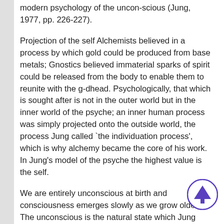modern psychology of the uncon-scious (Jung, 1977, pp. 226-227).
Projection of the self Alchemists believed in a process by which gold could be produced from base metals; Gnostics believed immaterial sparks of spirit could be released from the body to enable them to reunite with the g-dhead. Psychologically, that which is sought after is not in the outer world but in the inner world of the psyche; an inner human process was simply projected onto the outside world, the process Jung called `the individuation process', which is why alchemy became the core of his work. In Jung's model of the psyche the highest value is the self.
We are entirely unconscious at birth and consciousness emerges slowly as we grow older. The unconscious is the natural state which Jung called 'Reality in potentia' (CW 9i, para. 498), all that we could be and have ever been. Consciousness is the aware-ness of oneself as a subject, an 'I', separate from the world and the unconscious. Jung called that first centre of consciousness the ego. Also, as there is an 'I', which is the centre of consciousness.
[Figure (other): A circular scroll-to-top button with a purple/blue upward arrow icon, positioned at the bottom right of the page.]